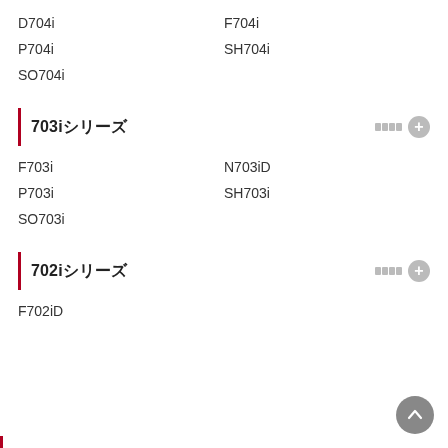D704i
F704i
P704i
SH704i
SO704i
703i シリーズ
F703i
N703iD
P703i
SH703i
SO703i
702i シリーズ
F702iD